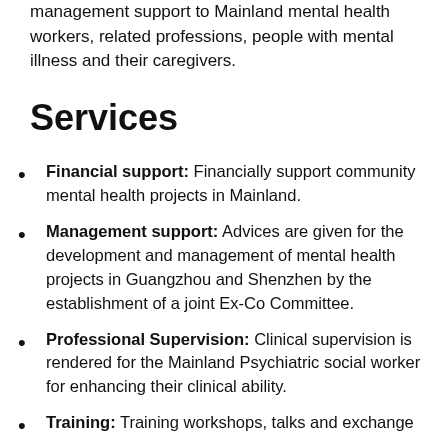management support to Mainland mental health workers, related professions, people with mental illness and their caregivers.
Services
Financial support: Financially support community mental health projects in Mainland.
Management support: Advices are given for the development and management of mental health projects in Guangzhou and Shenzhen by the establishment of a joint Ex-Co Committee.
Professional Supervision: Clinical supervision is rendered for the Mainland Psychiatric social worker for enhancing their clinical ability.
Training: Training workshops, talks and exchange